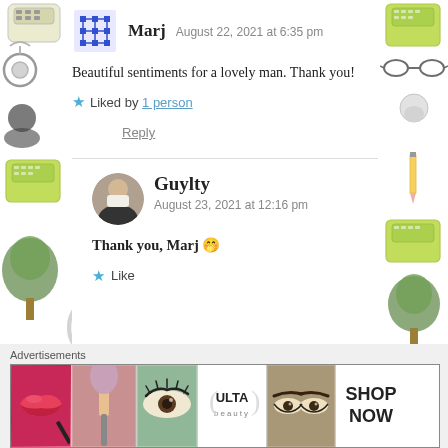Marj  August 22, 2021 at 6:35 pm
Beautiful sentiments for a lovely man. Thank you!
Liked by 1 person
Reply
Guylty  August 23, 2021 at 12:16 pm
Thank you, Marj 🤭
Like
Reply
Advertisements